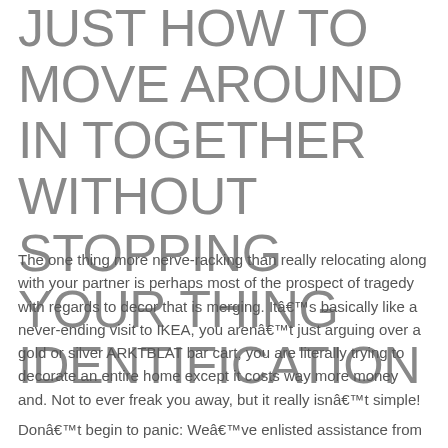JUST HOW TO MOVE AROUND IN TOGETHER WITHOUT STOPPING YOUR THING IDENTIFICATION
The one thing more nerve-racking than really relocating along with your partner is perhaps most of the prospect of tragedy with regards to decor that is merging. Itâ€™s basically like a never-ending visit to IKEA, you arenâ€™t just arguing over a gold or silver ARKTBLAT bar cart, you are literally trying to decorate an entire home except it costs way more money and. Not to ever freak you away, but it really isnâ€™t simple!
Donâ€™t begin to panic: Weâ€™ve enlisted assistance from